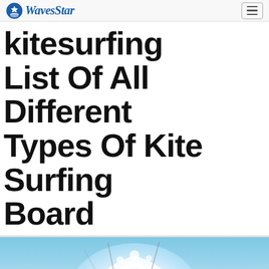WavesStar
kitesurfing List Of All Different Types Of Kite Surfing Board
[Figure (photo): A kitesurfer riding waves with a large splash of water around them, blue ocean and sky in the background, viewed from behind/side angle.]